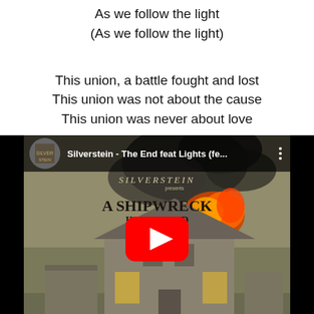As we follow the light
(As we follow the light)

This union, a battle fought and lost
This union was not about the cause
This union was never about love
[Figure (screenshot): YouTube video embed showing Silverstein - The End feat Lights (fe...) with album art 'A Shipwreck in the Sand' depicting a burning house, with a YouTube play button overlay]